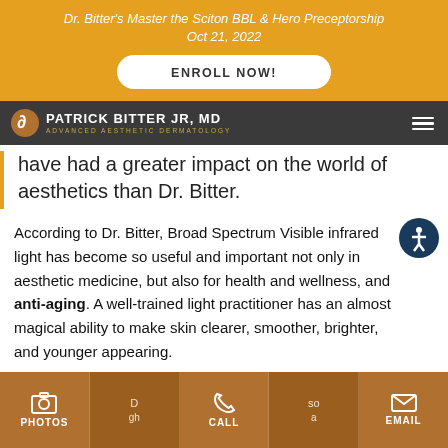Dr. Bitter's Master the Sciton BBL & Hero Preceptorship
Oct 21, 2022
ENROLL NOW!
[Figure (logo): Patrick Bitter Jr MD Advanced Aesthetic Dermatology logo on dark nav bar with hamburger menu]
have had a greater impact on the world of aesthetics than Dr. Bitter.
According to Dr. Bitter, Broad Spectrum Visible infrared light has become so useful and important not only in aesthetic medicine, but also for health and wellness, and anti-aging. A well-trained light practitioner has an almost magical ability to make skin clearer, smoother, brighter, and younger appearing.
PHOTOS | CALL | EMAIL